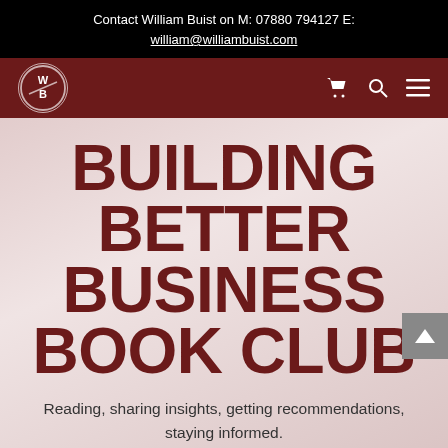Contact William Buist on M: 07880 794127 E: william@williambuist.com
[Figure (logo): WB logo circle on dark red navigation bar with shopping cart, search, and menu icons]
BUILDING BETTER BUSINESS BOOK CLUB
Reading, sharing insights, getting recommendations, staying informed.